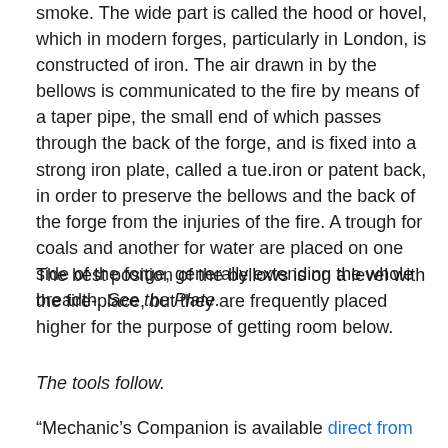smoke. The wide part is called the hood or hovel, which in modern forges, particularly in London, is constructed of iron. The air drawn in by the bellows is communicated to the fire by means of a taper pipe, the small end of which passes through the back of the forge, and is fixed into a strong iron plate, called a tue.iron or patent back, in order to preserve the bellows and the back of the forge from the injuries of the fire. A trough for coals and another for water are placed on one side of the forge, generally extending the whole breadth. See the Plate.
The best position of the bellows is on a level with the fire-place, but they are frequently placed higher for the purpose of getting room below.
The tools follow.
“Mechanic’s Companion is available direct from my